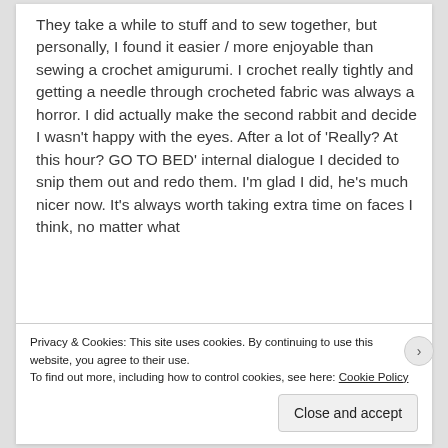They take a while to stuff and to sew together, but personally, I found it easier / more enjoyable than sewing a crochet amigurumi. I crochet really tightly and getting a needle through crocheted fabric was always a horror. I did actually make the second rabbit and decide I wasn't happy with the eyes. After a lot of 'Really? At this hour? GO TO BED' internal dialogue I decided to snip them out and redo them. I'm glad I did, he's much nicer now. It's always worth taking extra time on faces I think, no matter what
Privacy & Cookies: This site uses cookies. By continuing to use this website, you agree to their use.
To find out more, including how to control cookies, see here: Cookie Policy
Close and accept